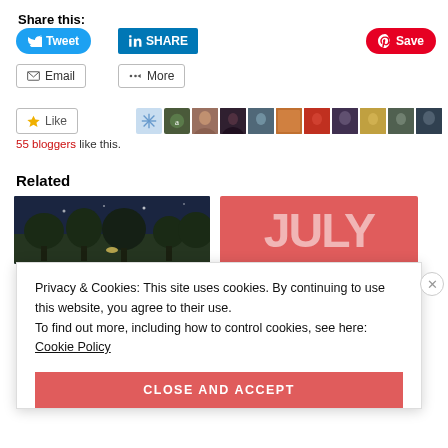Share this:
[Figure (screenshot): Social share buttons: Tweet (Twitter/blue), SHARE (LinkedIn/blue), Save (Pinterest/red), Email (grey outlined), More (grey outlined)]
[Figure (screenshot): Like button with star icon, snowflake avatars, and 10 profile photo avatars. Text: 55 bloggers like this.]
Related
[Figure (screenshot): Related section with two images: a dark night scene with trees, and a red background with large JULY text]
Privacy & Cookies: This site uses cookies. By continuing to use this website, you agree to their use.
To find out more, including how to control cookies, see here: Cookie Policy
CLOSE AND ACCEPT